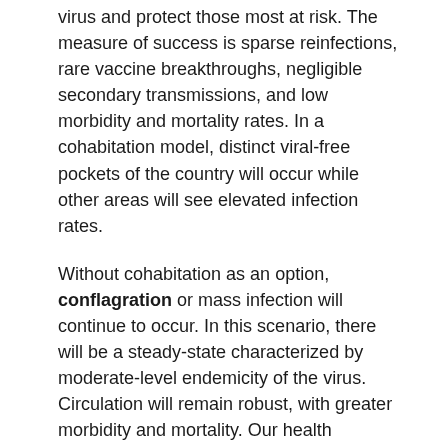virus and protect those most at risk. The measure of success is sparse reinfections, rare vaccine breakthroughs, negligible secondary transmissions, and low morbidity and mortality rates. In a cohabitation model, distinct viral-free pockets of the country will occur while other areas will see elevated infection rates.
Without cohabitation as an option, conflagration or mass infection will continue to occur. In this scenario, there will be a steady-state characterized by moderate-level endemicity of the virus. Circulation will remain robust, with greater morbidity and mortality. Our health systems will continue to be stretched, and we will not return to any sense of previous normalcy. Waxing and waning of virus prevalence will occur, and newer, more virulent strains are likely.
Undoubtedly, we have public health measures that work. And we have a highly effective vaccine. However, what we do not have is the nationalistic approach needed to reach even cohabitation. And conflagration will lead to continued